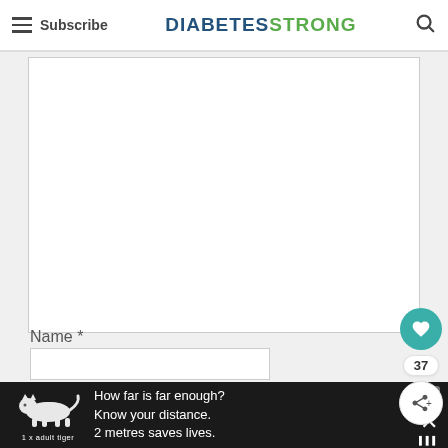Subscribe | DIABETESTRONG
[Figure (other): White content area / comment box region]
Name *
[Figure (other): Name input text field]
[Figure (infographic): Social sidebar with heart/like button (37 likes), share button]
[Figure (other): Bottom advertisement banner: tiger illustration with text 'How far is far enough? Know your distance. 2 metres saves lives. 1 x adult tiger']